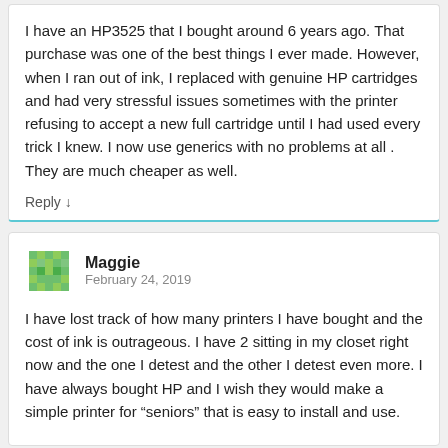I have an HP3525 that I bought around 6 years ago. That purchase was one of the best things I ever made. However, when I ran out of ink, I replaced with genuine HP cartridges and had very stressful issues sometimes with the printer refusing to accept a new full cartridge until I had used every trick I knew. I now use generics with no problems at all . They are much cheaper as well.
Reply ↓
Maggie
February 24, 2019
I have lost track of how many printers I have bought and the cost of ink is outrageous. I have 2 sitting in my closet right now and the one I detest and the other I detest even more. I have always bought HP and I wish they would make a simple printer for “seniors” that is easy to install and use.